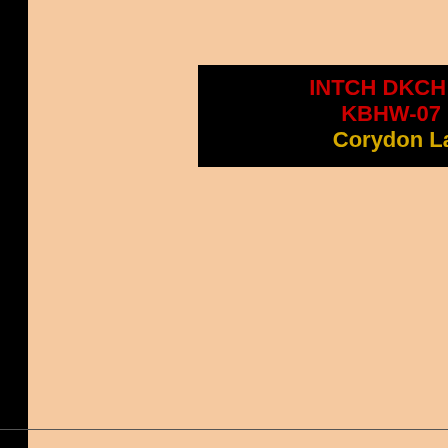[Figure (screenshot): Partial page view showing a peach/tan background area with black label boxes containing red and yellow bold text. Top-left area is black. A black band runs across the lower portion of the page. Text 'Si-Si Collic' is partially visible in the black band area.]
INTCH DKCH NUC WW-02 KBHW-07 DKKW-04 Corydon La Suprema
Si-Si Collic